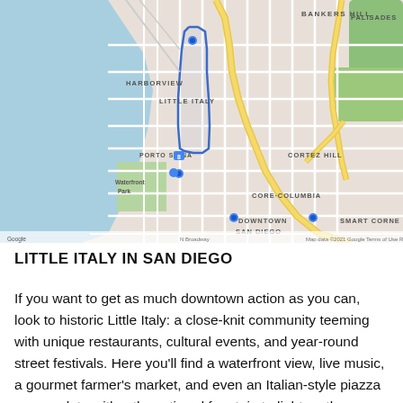[Figure (map): Google Maps screenshot showing Little Italy neighborhood in San Diego, with a blue outlined boundary highlighting the Little Italy area. Surrounding neighborhoods visible include Harborview, Porto Siena, Cortez Hill, Core-Columbia, Downtown San Diego, Bankers Hill, and Palisades. San Diego Bay is visible on the left side. Major roads and the Google logo are visible.]
LITTLE ITALY IN SAN DIEGO
If you want to get as much downtown action as you can, look to historic Little Italy: a close-knit community teeming with unique restaurants, cultural events, and year-round street festivals. Here you'll find a waterfront view, live music, a gourmet farmer's market, and even an Italian-style piazza — complete with a three-tiered fountain to light up the evening crowds. It's a quaint